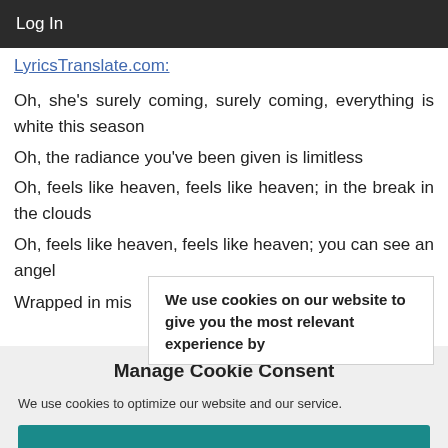Log In
LyricsTranslate.com:
Oh, she's surely coming, surely coming, everything is white this season
Oh, the radiance you've been given is limitless
Oh, feels like heaven, feels like heaven; in the break in the clouds
Oh, feels like heaven, feels like heaven; you can see an angel

Wrapped in mis...
We use cookies on our website to give you the most relevant experience by
Manage Cookie Consent
We use cookies to optimize our website and our service.